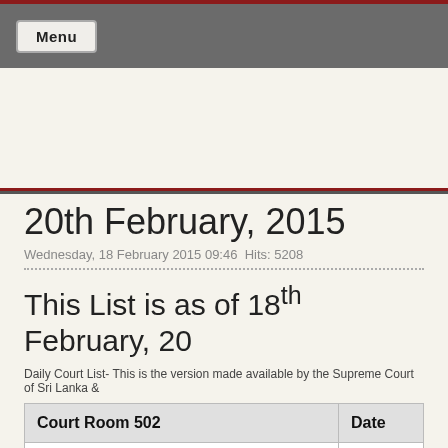Menu
20th February, 2015
Wednesday, 18 February 2015 09:46  Hits: 5208
This List is as of 18th February, 20...
Daily Court List- This is the version made available by the Supreme Court of Sri Lanka &...
| Court Room 502 | Date |
| --- | --- |
| HON. PRIYASATH DEP, PC., J.
HON. PRIYANTHA JAYAWARDENA, PC., J.
HON. ANIL GOONARATNE, J. | 10.00AM |